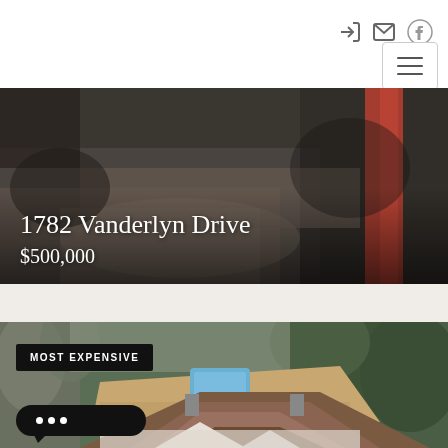Navigation header with icons and hamburger menu
[Figure (photo): Aerial/overhead view of 1782 Vanderlyn Drive property with dark tones and red accent stripe on right side]
1782 Vanderlyn Drive
$500,000
[Figure (photo): Aerial drone photo of large residential property surrounded by trees, showing rooftops and a pool]
MOST EXPENSIVE